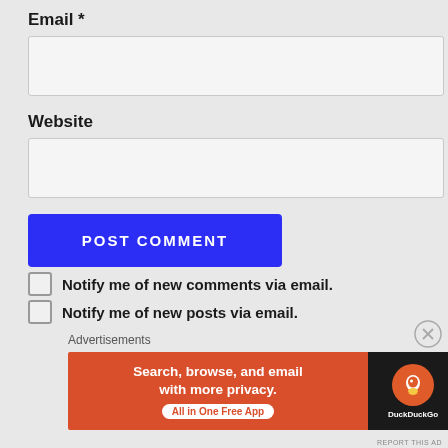Email *
[Figure (other): Empty email text input field with light gray background and border]
Website
[Figure (other): Empty website text input field with light gray background and border]
[Figure (other): Blue POST COMMENT button]
Notify me of new comments via email.
Notify me of new posts via email.
Advertisements
[Figure (other): DuckDuckGo advertisement banner: 'Search, browse, and email with more privacy. All in One Free App' on orange background with DuckDuckGo logo on dark background]